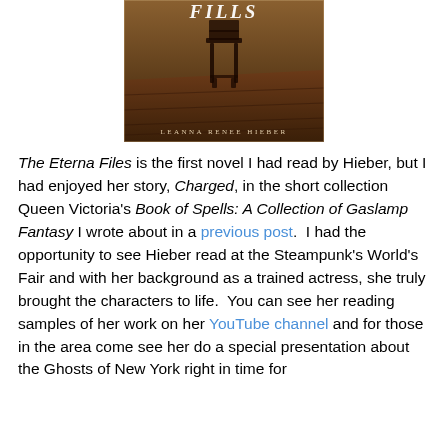[Figure (photo): Book cover of 'The Eterna Files' by Leanna Renee Hieber, showing a dark wooden floor and chair with gothic lettering, brown tones.]
The Eterna Files is the first novel I had read by Hieber, but I had enjoyed her story, Charged, in the short collection Queen Victoria's Book of Spells: A Collection of Gaslamp Fantasy I wrote about in a previous post.  I had the opportunity to see Hieber read at the Steampunk's World's Fair and with her background as a trained actress, she truly brought the characters to life.  You can see her reading samples of her work on her YouTube channel and for those in the area come see her do a special presentation about the Ghosts of New York right in time for